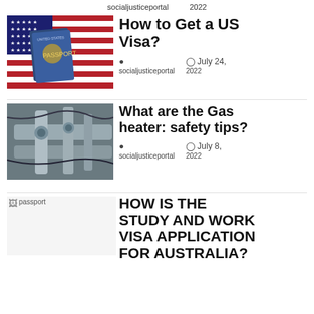socialjusticeportal   2022
[Figure (photo): US passport on top of American flag]
How to Get a US Visa?
socialjusticeportal   July 24, 2022
[Figure (photo): Industrial gas heater pipes and valves]
What are the Gas heater: safety tips?
socialjusticeportal   July 8, 2022
[Figure (photo): Broken image placeholder labeled passport]
HOW IS THE STUDY AND WORK VISA APPLICATION FOR AUSTRALIA?